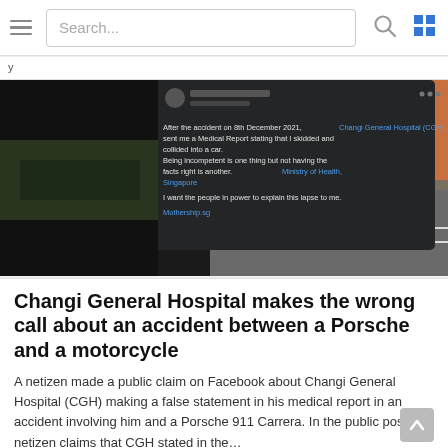Search...
[Figure (screenshot): Screenshot of a Facebook post overlaid on dashcam/road footage showing a Porsche and motorcycle accident. The post reads: 'Yesterday at 12:40 AM · After the accident on 8th December 2021, Changi General Hospital (CGH) sent me a Medical Report stating that I skidded and collided into a car. Being incompetent is one thing but not having the facts right is another. Ministry of Health, Singapore. I want the people in power to explain this lapse to me. Mothership.sg'. A red circle highlights vehicles on a road.]
Changi General Hospital makes the wrong call about an accident between a Porsche and a motorcycle
A netizen made a public claim on Facebook about Changi General Hospital (CGH) making a false statement in his medical report in an accident involving him and a Porsche 911 Carrera. In the public post, the netizen claims that CGH stated in the…